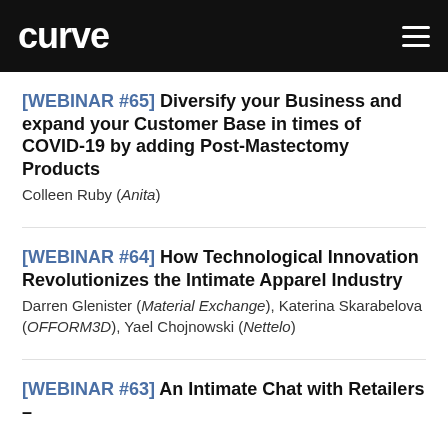curve
[WEBINAR #65] Diversify your Business and expand your Customer Base in times of COVID-19 by adding Post-Mastectomy Products
Colleen Ruby (Anita)
[WEBINAR #64] How Technological Innovation Revolutionizes the Intimate Apparel Industry
Darren Glenister (Material Exchange), Katerina Skarabelova (OFFORM3D), Yael Chojnowski (Nettelo)
[WEBINAR #63] An Intimate Chat with Retailers –